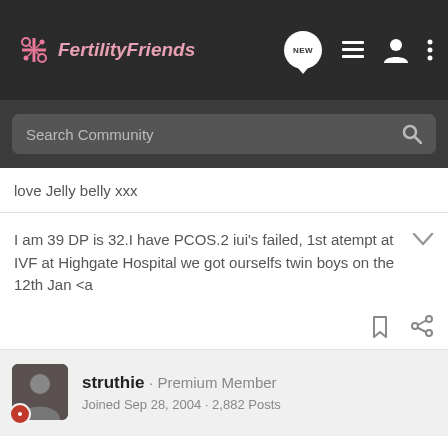FertilityFriends
love Jelly belly xxx
I am 39 DP is 32.I have PCOS.2 iui's failed, 1st atempt at IVF at Highgate Hospital we got ourselfs twin boys on the 12th Jan <a
struthie · Premium Member
Joined Sep 28, 2004 · 2,882 Posts
#10 · Sep 25, 2005
Hi guys
I tested this morning couldn't wait any longer and it was neg.